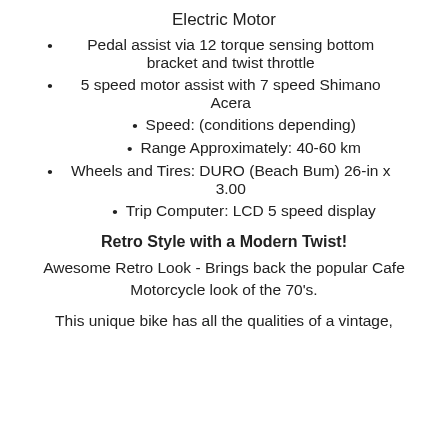Electric Motor
Pedal assist via 12 torque sensing bottom bracket and twist throttle
5 speed motor assist with 7 speed Shimano Acera
Speed:  (conditions depending)
Range Approximately: 40-60 km
Wheels and Tires: DURO (Beach Bum) 26-in x 3.00
Trip Computer: LCD 5 speed display
Retro Style with a Modern Twist!
Awesome Retro Look - Brings back the popular Cafe Motorcycle look of the 70's.
This unique bike has all the qualities of a vintage,